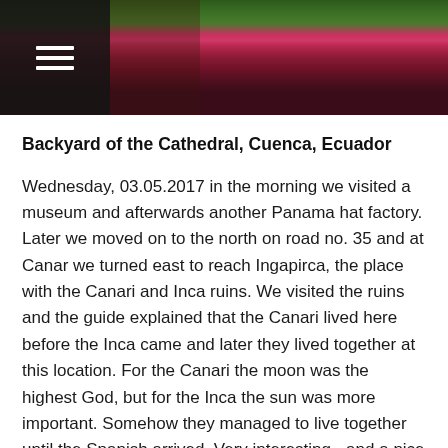[Figure (photo): Photograph of red flowering plants and green foliage, with a dark hamburger menu icon overlay in the top-left corner]
Backyard of the Cathedral, Cuenca, Ecuador
Wednesday, 03.05.2017 in the morning we visited a museum and afterwards another Panama hat factory. Later we moved on to the north on road no. 35 and at Canar we turned east to reach Ingapirca, the place with the Canari and Inca ruins. We visited the ruins and the guide explained that the Canari lived here before the Inca came and later they lived together at this location. For the Canari the moon was the highest God, but for the Inca the sun was more important. Somehow they managed to live together until the Spanish arrived. Very interesting - and a nice place! Cloudy but dry weather. 84 km.